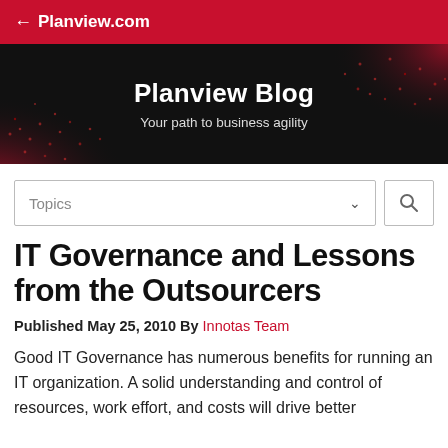← Planview.com
[Figure (illustration): Planview Blog hero banner with dark background and red wave pattern. Title: 'Planview Blog'. Subtitle: 'Your path to business agility'.]
Planview Blog
Your path to business agility
Topics
IT Governance and Lessons from the Outsourcers
Published May 25, 2010 By Innotas Team
Good IT Governance has numerous benefits for running an IT organization. A solid understanding and control of resources, work effort, and costs will drive better